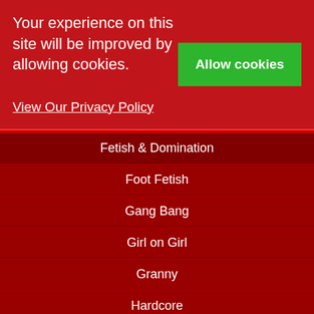Your experience on this site will be improved by allowing cookies. View Our Privacy Policy
Fetish & Domination
Foot Fetish
Gang Bang
Girl on Girl
Granny
Hardcore
Housewives
Lesbian
Mature
MILF
New Girls
Petit...